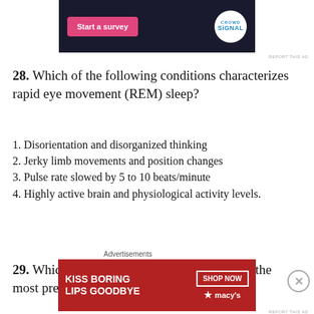[Figure (other): Advertisement banner at the top: dark navy background with a pink 'Start a survey' button and a CrowdSignal logo circle on the right.]
REPORT THIS AD
28.  Which of the following conditions characterizes rapid eye movement (REM) sleep?
1. Disorientation and disorganized thinking
2. Jerky limb movements and position changes
3. Pulse rate slowed by 5 to 10 beats/minute
4. Highly active brain and physiological activity levels.
29.  Which of the following sleep disorders is the most prevalent?
Advertisements
[Figure (other): Advertisement: Macy's lipstick ad with red background, 'KISS BORING LIPS GOODBYE' text and 'SHOP NOW' button with Macy's star logo.]